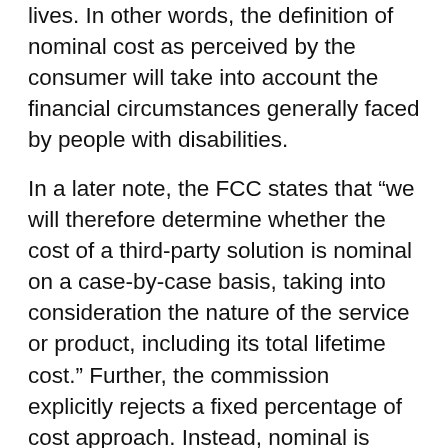lives. In other words, the definition of nominal cost as perceived by the consumer will take into account the financial circumstances generally faced by people with disabilities.
In a later note, the FCC states that “we will therefore determine whether the cost of a third-party solution is nominal on a case-by-case basis, taking into consideration the nature of the service or product, including its total lifetime cost.” Further, the commission explicitly rejects a fixed percentage of cost approach. Instead, nominal is judged on a case-by-case basis against (i) the user’s economic resources and (ii) the total life cycle cost of the solution. In summary, it is fair to assume that a “nominal cost” would be quite low. As a rough rule of thumb, SSB recommends $100 or below as